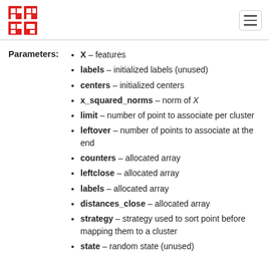[Logo] [Hamburger menu]
X – features
labels – initialized labels (unused)
centers – initialized centers
x_squared_norms – norm of X
limit – number of point to associate per cluster
leftover – number of points to associate at the end
counters – allocated array
leftclose – allocated array
labels – allocated array
distances_close – allocated array
strategy – strategy used to sort point before mapping them to a cluster
state – random state (unused)